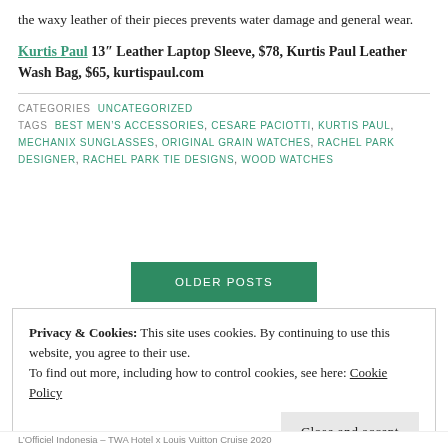the waxy leather of their pieces prevents water damage and general wear.
Kurtis Paul 13″ Leather Laptop Sleeve, $78, Kurtis Paul Leather Wash Bag, $65, kurtispaul.com
CATEGORIES  UNCATEGORIZED
TAGS  BEST MEN'S ACCESSORIES, CESARE PACIOTTI, KURTIS PAUL, MECHANIX SUNGLASSES, ORIGINAL GRAIN WATCHES, RACHEL PARK DESIGNER, RACHEL PARK TIE DESIGNS, WOOD WATCHES
OLDER POSTS
Privacy & Cookies: This site uses cookies. By continuing to use this website, you agree to their use.
To find out more, including how to control cookies, see here: Cookie Policy
Close and accept
L'Officiel Indonesia – TWA Hotel x Louis Vuitton Cruise 2020